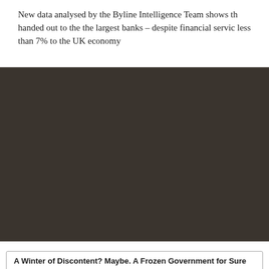New data analysed by the Byline Intelligence Team shows that the majority of covid loans were handed out to the the largest banks – despite financial services contributing less than 7% to the UK economy
[Figure (photo): Dark background image section, approximately 290px tall, dark brownish-black color filling the full width of the page]
A Winter of Discontent? Maybe. A Frozen Government for Sure